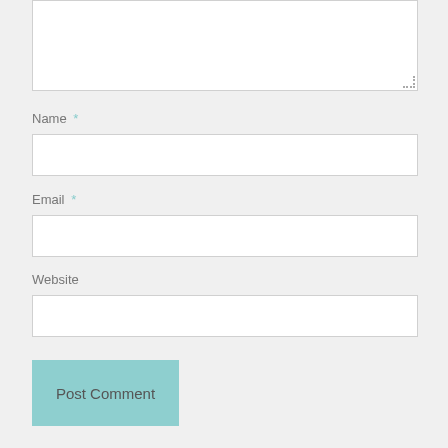[Figure (screenshot): Textarea input box at top of page, partially visible, with dotted resize handle at bottom-right corner]
Name *
[Figure (screenshot): Name text input field, white background with light border]
Email *
[Figure (screenshot): Email text input field, white background with light border]
Website
[Figure (screenshot): Website text input field, white background with light border]
Post Comment